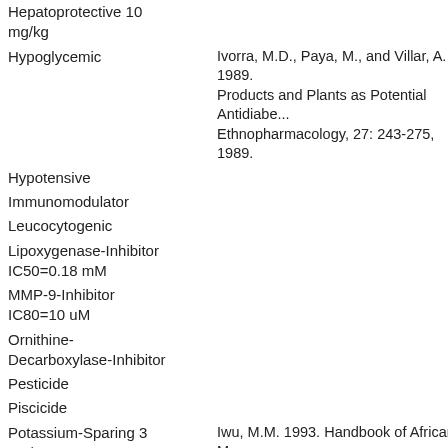| Activity/Property | Reference |
| --- | --- |
| Hepatoprotective 10 mg/kg |  |
| Hypoglycemic | Ivorra, M.D., Paya, M., and Villar, A. 1989. Products and Plants as Potential Antidiabe... Ethnopharmacology, 27: 243-275, 1989. |
| Hypotensive |  |
| Immunomodulator |  |
| Leucocytogenic |  |
| Lipoxygenase-Inhibitor IC50=0.18 mM |  |
| MMP-9-Inhibitor IC80=10 uM |  |
| Ornithine-Decarboxylase-Inhibitor |  |
| Pesticide |  |
| Piscicide |  |
| Potassium-Sparing 3 mg/rat | Iwu, M.M. 1993. Handbook of African Me... Boca Raton, FL 435 pp. |
| Protease-Inhibitor IC85=18 ug/ml |  |
| Protisticide | Chemical Express, 7: 285, 1992. |
|  | Lee, S. K., Song, Y., Mata-Greenwood, E... |